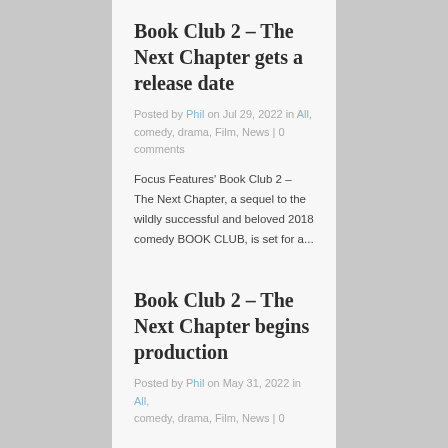Book Club 2 – The Next Chapter gets a release date
Posted by Phil on Jul 29, 2022 in All, comedy, drama, Film, News | 0 comments
Focus Features' Book Club 2 – The Next Chapter, a sequel to the wildly successful and beloved 2018 comedy BOOK CLUB, is set for a...
Book Club 2 – The Next Chapter begins production
Posted by Phil on May 31, 2022 in All, comedy, drama, Film, News | 0